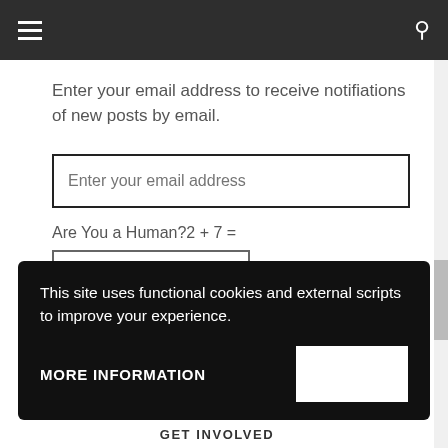Enter your email address to receive notifiations of new posts by email.
Enter your email address
Are You a Human?2 + 7 =
This site uses functional cookies and external scripts to improve your experience.
MORE INFORMATION
GET INVOLVED